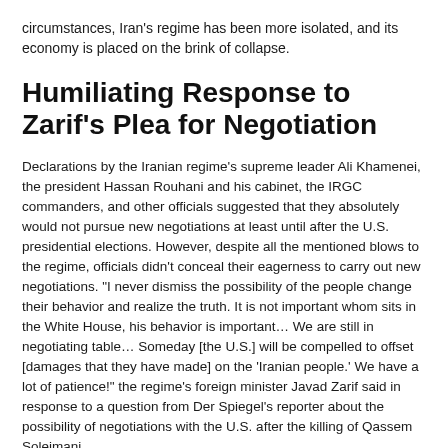circumstances, Iran's regime has been more isolated, and its economy is placed on the brink of collapse.
Humiliating Response to Zarif's Plea for Negotiation
Declarations by the Iranian regime's supreme leader Ali Khamenei, the president Hassan Rouhani and his cabinet, the IRGC commanders, and other officials suggested that they absolutely would not pursue new negotiations at least until after the U.S. presidential elections. However, despite all the mentioned blows to the regime, officials didn't conceal their eagerness to carry out new negotiations. "I never dismiss the possibility of the people change their behavior and realize the truth. It is not important whom sits in the White House, his behavior is important… We are still in negotiating table… Someday [the U.S.] will be compelled to offset [damages that they have made] on the 'Iranian people.' We have a lot of patience!" the regime's foreign minister Javad Zarif said in response to a question from Der Spiegel's reporter about the possibility of negotiations with the U.S. after the killing of Qassem Soleimani.